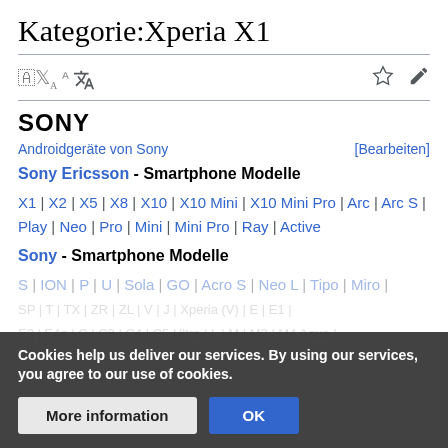Kategorie:Xperia X1
[Figure (logo): SONY logo in bold black text]
Androidgeräte von Sony [Bearbeiten]
Sony Ericsson - Smartphone Modelle
X1 | X2 | X5 | X8 | X10 | X10 Mini | X10 Mini Pro | Arc | Arc S | Play | Neo | Pro | Mini | Mini Pro | Ray | Active
Sony - Smartphone Modelle
S | ION | P | U | Sola | GO | Acro S | Neo L | Tipo | Miro | ...
Cookies help us deliver our services. By using our services, you agree to our use of cookies.